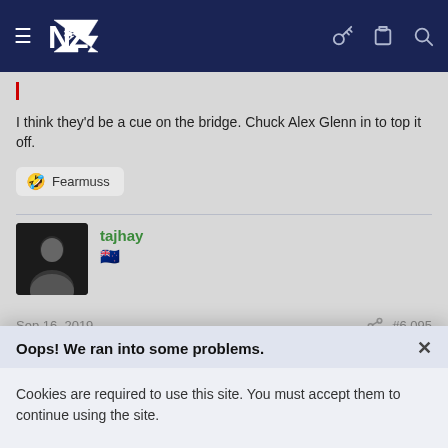[Figure (screenshot): Navigation bar with hamburger menu, NZ Warriors logo, key icon, clipboard icon, and search icon on dark navy background]
I think they'd be a cue on the bridge. Chuck Alex Glenn in to top it off.
🤣 Fearmuss
tajhay
🇳🇿
Sep 16, 2019
#6,095
Oops! We ran into some problems.
Cookies are required to use this site. You must accept them to continue using the site.